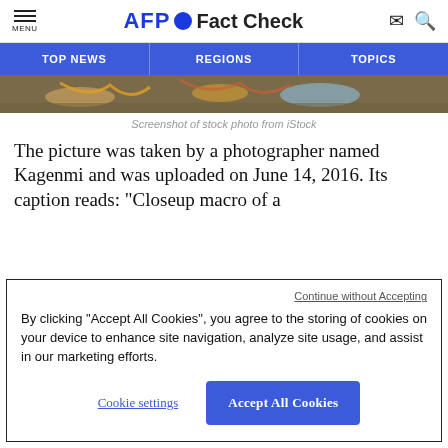AFP Fact Check
[Figure (screenshot): Navigation bar with TOP NEWS, REGIONS, TOPICS on blue background]
[Figure (photo): Partial photo strip showing colorful macro image]
Screenshot of stock photo from iStock
The picture was taken by a photographer named Kagenmi and was uploaded on June 14, 2016. Its caption reads: "Closeup macro of a
Continue without Accepting
By clicking “Accept All Cookies”, you agree to the storing of cookies on your device to enhance site navigation, analyze site usage, and assist in our marketing efforts.
Cookie settings
Accept All Cookies